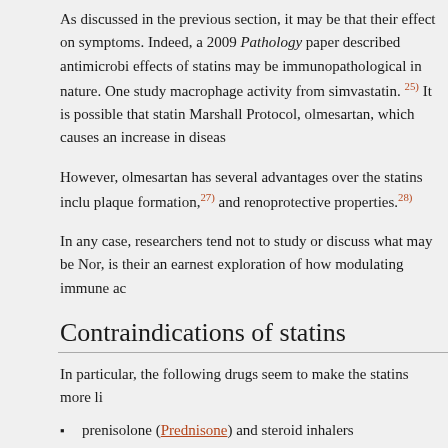As discussed in the previous section, it may be that their effect on symptoms. Indeed, a 2009 Pathology paper described antimicrobial effects of statins may be immunopathological in nature. One study macrophage activity from simvastatin. 25) It is possible that statins Marshall Protocol, olmesartan, which causes an increase in disease
However, olmesartan has several advantages over the statins including plaque formation,27) and renoprotective properties.28)
In any case, researchers tend not to study or discuss what may be Nor, is their an earnest exploration of how modulating immune activity
Contraindications of statins
In particular, the following drugs seem to make the statins more likely
prenisolone (Prednisone) and steroid inhalers
Methotrexate and Imuran